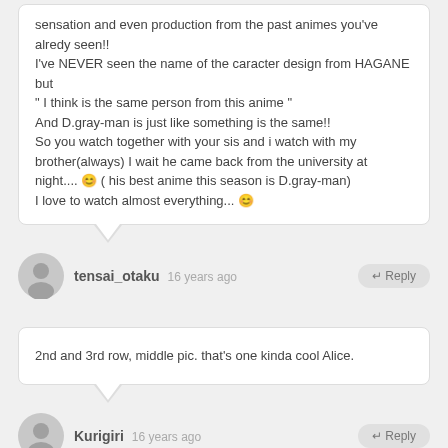sensation and even production from the past animes you've alredy seen!!
I've NEVER seen the name of the caracter design from HAGANE but
" I think is the same person from this anime "
And D.gray-man is just like something is the same!!
So you watch together with your sis and i watch with my brother(always) I wait he came back from the university at night.... 😊 ( his best anime this season is D.gray-man)
I love to watch almost everything... 😊
tensai_otaku  16 years ago  ↵Reply
2nd and 3rd row, middle pic. that's one kinda cool Alice.
Kurigiri  16 years ago  ↵Reply